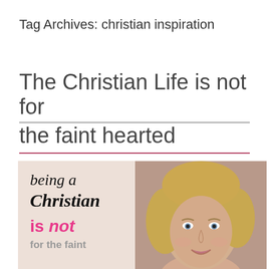Tag Archives: christian inspiration
The Christian Life is not for the faint hearted
[Figure (photo): Inspirational image with text 'being a Christian is not for the faint' on left side with pink/tan background, and a photo of a smiling blonde woman on the right side with a tan/brown toned background.]